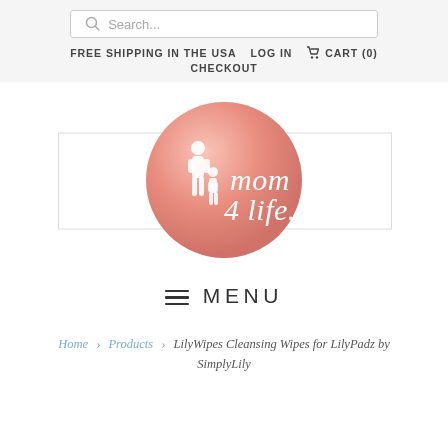Search... | FREE SHIPPING IN THE USA | LOG IN | CART (0) | CHECKOUT
[Figure (logo): Mom 4 Life brand logo — a pink watercolor circle with white silhouettes of a mother and child and the script text 'mom 4 life']
≡ MENU
Home > Products > LilyWipes Cleansing Wipes for LilyPadz by SimplyLily